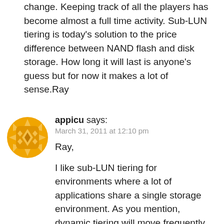change. Keeping track of all the players has become almost a full time activity. Sub-LUN tiering is today's solution to the price difference between NAND flash and disk storage. How long it will last is anyone's guess but for now it makes a lot of sense.Ray
[Figure (illustration): Golden/orange decorative geometric avatar icon with floral/star pattern]
appicu says: March 31, 2011 at 12:10 pm Ray, I like sub-LUN tiering for environments where a lot of applications share a single storage environment. As you mention, dynamic tiering will move frequently accessed data to SSD, but tiering operate the...